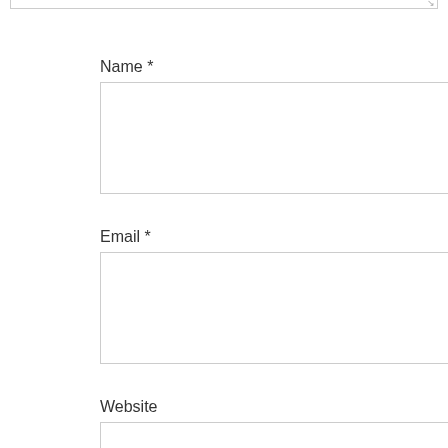Name *
Email *
Website
This website uses cookies to improve your experience. We'll assume you're ok with this, but you can opt-out if you wish.
[Figure (screenshot): Social sharing bar with Facebook (8), Twitter, Pinterest (33), LinkedIn buttons and 41 total shares]